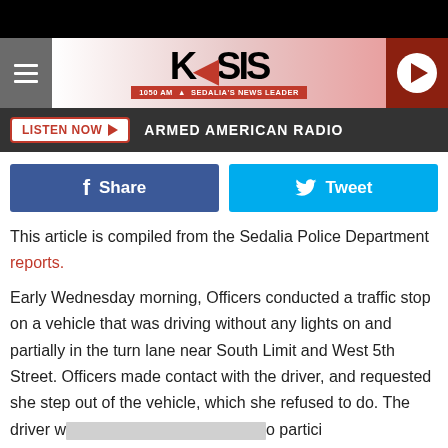[Figure (screenshot): KSIS 1050 AM radio station website header with hamburger menu, logo, play button, Listen Now bar showing Armed American Radio, Facebook Share and Tweet buttons, and article text about a Sedalia Police Department traffic stop.]
This article is compiled from the Sedalia Police Department reports.
Early Wednesday morning, Officers conducted a traffic stop on a vehicle that was driving without any lights on and partially in the turn lane near South Limit and West 5th Street. Officers made contact with the driver, and requested she step out of the vehicle, which she refused to do. The driver w[redacted]o partici[redacted]was